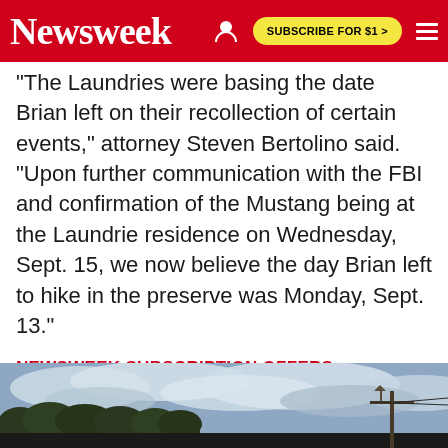Newsweek | SUBSCRIBE FOR $1 >
"The Laundries were basing the date Brian left on their recollection of certain events," attorney Steven Bertolino said. "Upon further communication with the FBI and confirmation of the Mustang being at the Laundrie residence on Wednesday, Sept. 15, we now believe the day Brian left to hike in the preserve was Monday, Sept. 13."
NEWSWEEK SUBSCRIPTION OFFERS >
[Figure (photo): Outdoor landscape photo showing trees and cloudy sky with a utility pole, partially visible at bottom of page.]